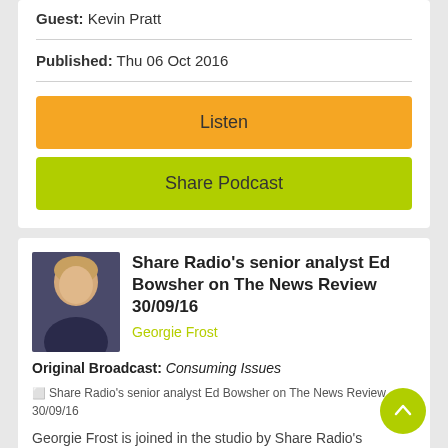Guest: Kevin Pratt
Published: Thu 06 Oct 2016
Listen
Share Podcast
Share Radio's senior analyst Ed Bowsher on The News Review 30/09/16
Georgie Frost
Original Broadcast: Consuming Issues
[Figure (photo): Broken image placeholder: Share Radio's senior analyst Ed Bowsher on The News Review 30/09/16]
Georgie Frost is joined in the studio by Share Radio's